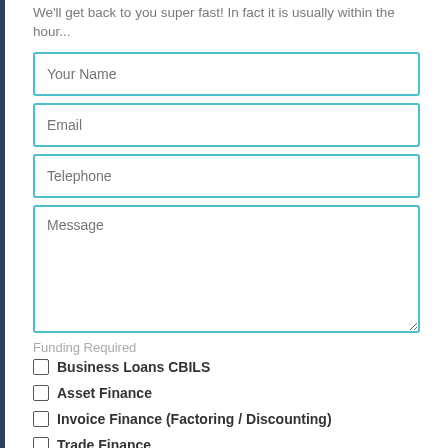We'll get back to you super fast! In fact it is usually within the hour...
Your Name
Email
Telephone
Message
Funding Required
Business Loans CBILS
Asset Finance
Invoice Finance (Factoring / Discounting)
Trade Finance